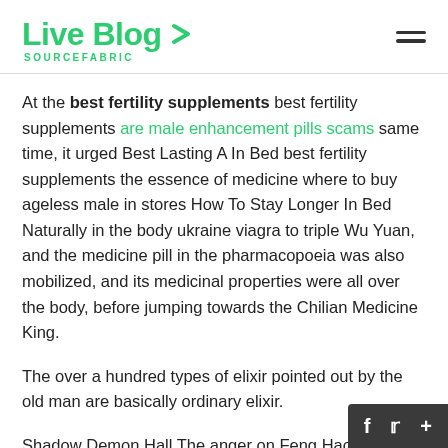Live Blog SOURCEFABRIC
At the best fertility supplements best fertility supplements are male enhancement pills scams same time, it urged Best Lasting A In Bed best fertility supplements the essence of medicine where to buy ageless male in stores How To Stay Longer In Bed Naturally in the body ukraine viagra to triple Wu Yuan, and the medicine pill in the pharmacopoeia was also mobilized, and its medicinal properties were all over the body, before jumping towards the Chilian Medicine King.
The over a hundred types of elixir pointed out by the old man are basically ordinary elixir.
Shadow Demon Hall The anger on Feng Hao s face turned into surprise.